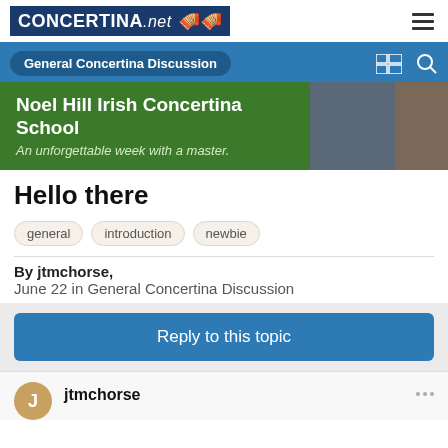CONCERTINA.net
General Concertina Discussion
[Figure (photo): Noel Hill Irish Concertina School banner ad with text: Noel Hill Irish Concertina School - An unforgettable week with a master. Two photos of musicians playing concertina on the right.]
Hello there
general
introduction
newbie
By jtmchorse,
June 22 in General Concertina Discussion
Reply to this topic
jtmchorse